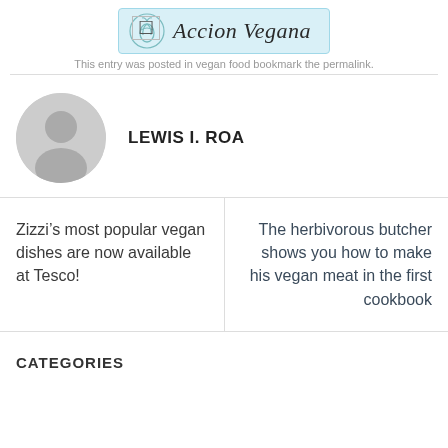Accion Vegana
This entry was posted in vegan food bookmark the permalink.
LEWIS I. ROA
Zizzi’s most popular vegan dishes are now available at Tesco!
The herbivorous butcher shows you how to make his vegan meat in the first cookbook
CATEGORIES